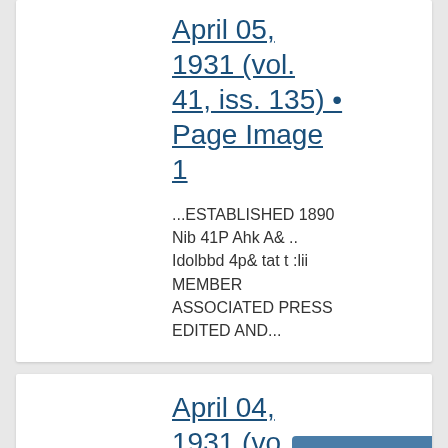April 05, 1931 (vol. 41, iss. 135) • Page Image 1
...ESTABLISHED 1890 Nib 41P Ahk A& .. Idolbbd 4p& tat t :lii MEMBER ASSOCIATED PRESS EDITED AND...
April 04, 1931 (vol. 41, iss. 1... Page Image...